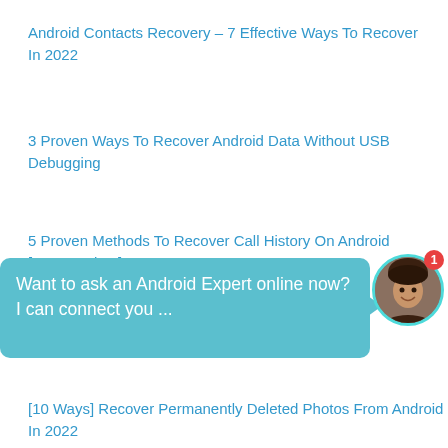Android Contacts Recovery – 7 Effective Ways To Recover In 2022
3 Proven Ways To Recover Android Data Without USB Debugging
5 Proven Methods To Recover Call History On Android [2022 Update]
[4 Methods] Recover Text Messages After
[Figure (photo): Chat widget with teal bubble saying 'Want to ask an Android Expert online now? I can connect you ...' and avatar of a woman with notification badge showing 1]
[10 Ways] Recover Permanently Deleted Photos From Android In 2022